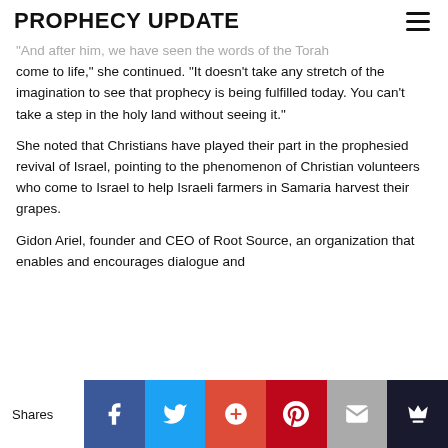PROPHECY UPDATE
"And after him, we have seen the words of the Torah come to life," she continued. "It doesn't take any stretch of the imagination to see that prophecy is being fulfilled today. You can't take a step in the holy land without seeing it."
She noted that Christians have played their part in the prophesied revival of Israel, pointing to the phenomenon of Christian volunteers who come to Israel to help Israeli farmers in Samaria harvest their grapes.
Gidon Ariel, founder and CEO of Root Source, an organization that enables and encourages dialogue and